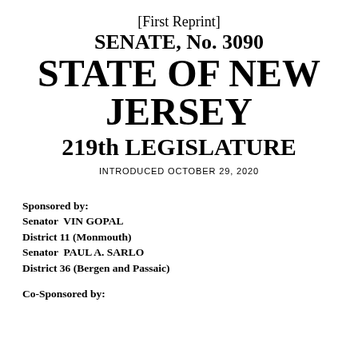[First Reprint] SENATE, No. 3090 STATE OF NEW JERSEY 219th LEGISLATURE
INTRODUCED OCTOBER 29, 2020
Sponsored by:
Senator  VIN GOPAL
District 11 (Monmouth)
Senator  PAUL A. SARLO
District 36 (Bergen and Passaic)
Co-Sponsored by: